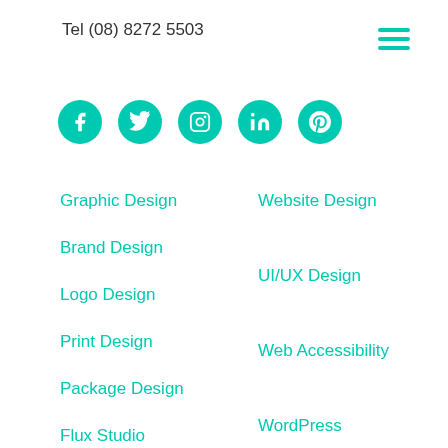Tel (08) 8272 5503
[Figure (illustration): Hamburger menu icon with three teal horizontal lines]
[Figure (illustration): Five teal social media icon circles: Facebook, Twitter, Instagram, LinkedIn, Pinterest]
Graphic Design
Brand Design
Logo Design
Print Design
Package Design
Flux Studio
Portfolio
Website Design
UI/UX Design
Web Accessibility
WordPress